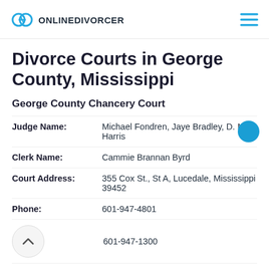ONLINEDIVORCER
Divorce Courts in George County, Mississippi
George County Chancery Court
Judge Name: Michael Fondren, Jaye Bradley, D. Neil Harris
Clerk Name: Cammie Brannan Byrd
Court Address: 355 Cox St., St A, Lucedale, Mississippi 39452
Phone: 601-947-4801
601-947-1300
Clerk Hours: 8am-5pm